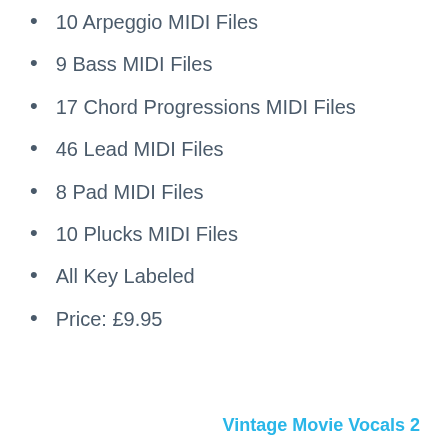10 Arpeggio MIDI Files
9 Bass MIDI Files
17 Chord Progressions MIDI Files
46 Lead MIDI Files
8 Pad MIDI Files
10 Plucks MIDI Files
All Key Labeled
Price: £9.95
Vintage Movie Vocals 2